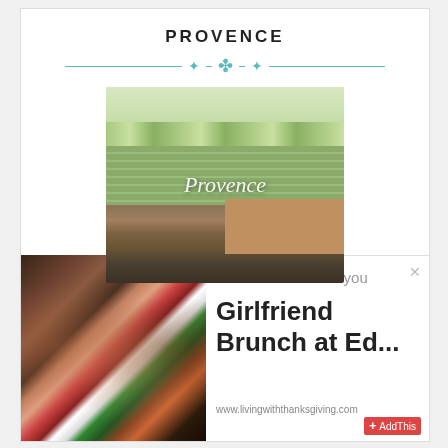PROVENCE
[Figure (illustration): Decorative horizontal divider with teal/turquoise lines and a central ornamental fleur-de-lis style symbol]
[Figure (photo): Landscape photo of Provence countryside with vineyards, almond trees in bloom, and a stone farmhouse, with the cursive word 'Provence' overlaid in white italic text]
[Figure (photo): Group photo of approximately 15-16 women posing together indoors, with warm lighting and Christmas/holiday attire]
Recommended for you
Girlfriend Brunch at Ed...
www.livingwiththanksgiving.com
[Figure (logo): AddThis social sharing button with red background and white plus symbol]